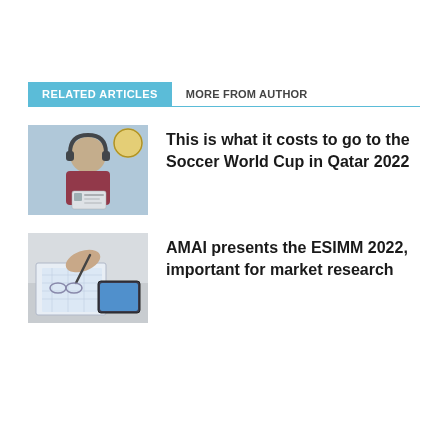RELATED ARTICLES
MORE FROM AUTHOR
[Figure (photo): Person wearing headphones with a soccer ball, related to World Cup]
This is what it costs to go to the Soccer World Cup in Qatar 2022
[Figure (photo): Person writing on paper with a tablet nearby, related to market research]
AMAI presents the ESIMM 2022, important for market research